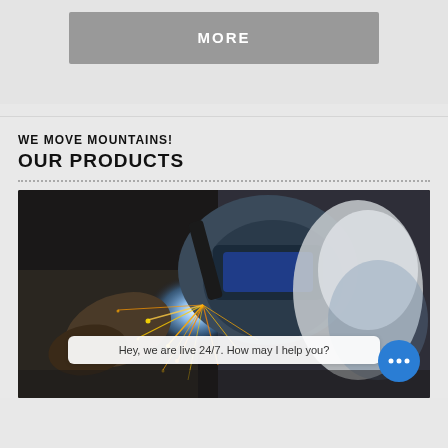[Figure (other): Gray 'MORE' button on light gray background]
WE MOVE MOUNTAINS!
OUR PRODUCTS
[Figure (photo): Close-up photo of a welder wearing a welding helmet, with bright welding sparks and arc light visible]
Hey, we are live 24/7. How may I help you?